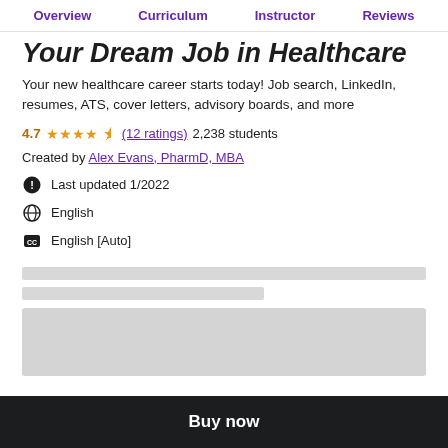Overview  Curriculum  Instructor  Reviews
Your Dream Job in Healthcare
Your new healthcare career starts today! Job search, LinkedIn, resumes, ATS, cover letters, advisory boards, and more
4.7 ★★★★½ (12 ratings)  2,238 students
Created by Alex Evans, PharmD, MBA
Last updated 1/2022
English
English [Auto]
[Figure (other): Placeholder loading bars for course content]
[Figure (other): Placeholder card for course details]
Buy now